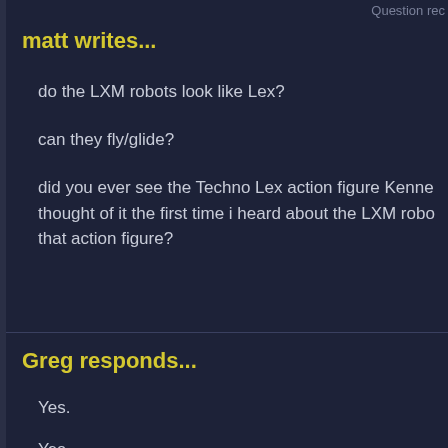Question rec
matt writes...
do the LXM robots look like Lex?
can they fly/glide?
did you ever see the Techno Lex action figure Kenne thought of it the first time i heard about the LXM robo that action figure?
Greg responds...
Yes.
Yes.
I must have seen it at some point. But I can't recall it LXM's are chromium in appearance.
Question rec
Kelly L Creighton/Kya White Sapphire writ